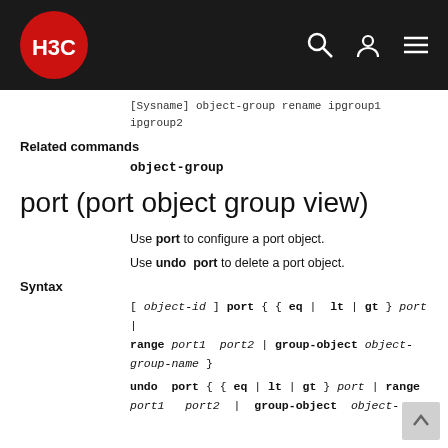H3C documentation page header with navigation icons
[Sysname] object-group rename ipgroup1 ipgroup2
Related commands
object-group
port (port object group view)
Use port to configure a port object.
Use undo port to delete a port object.
Syntax
[ object-id ] port { { eq | lt | gt } port | range port1 port2 | group-object object-group-name }
undo port { { eq | lt | gt } port | range port1 port2 | group-object object-